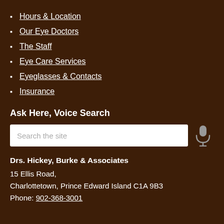Hours & Location
Our Eye Doctors
The Staff
Eye Care Services
Eyeglasses & Contacts
Insurance
Ask Here, Voice Search
Search the site
Drs. Hickey, Burke & Associates
15 Ellis Road,
Charlottetown, Prince Edward Island C1A 9B3
Phone: 902-368-3001